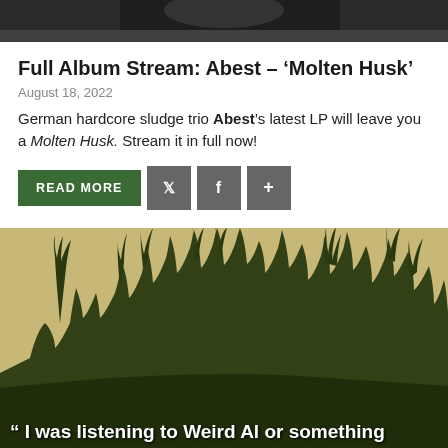[Figure (photo): Cropped photo at top of page showing a dark figure, partial view]
Full Album Stream: Abest – 'Molten Husk'
August 18, 2022
German hardcore sludge trio Abest's latest LP will leave you a Molten Husk. Stream it in full now!
READ MORE  [Twitter] [Facebook] [+]
[Figure (photo): Concert crowd silhouette with raised hands making rock and fist gestures, dark olive/golden toned image against a light textured background]
“ I was listening to Weird Al or something